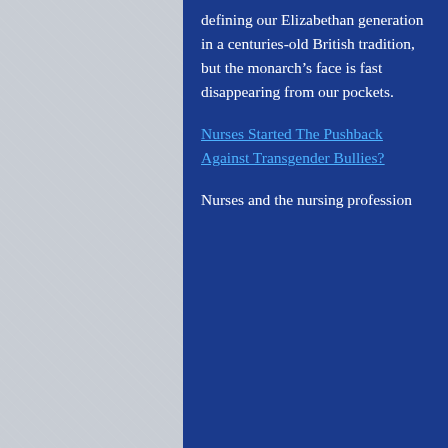[Figure (photo): Textured light grey/silver background occupying the left portion of the page]
defining our Elizabethan generation in a centuries-old British tradition, but the monarch's face is fast disappearing from our pockets.
Nurses Started The Pushback Against Transgender Bullies?
Nurses and the nursing profession